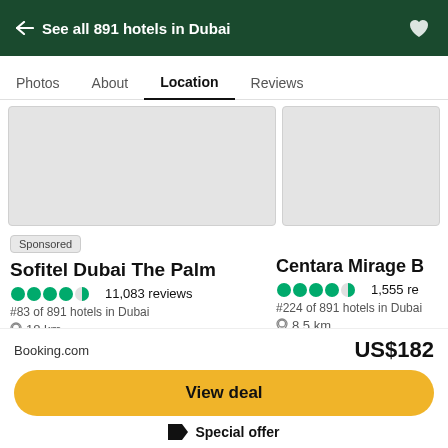← See all 891 hotels in Dubai
Photos  About  Location  Reviews
[Figure (screenshot): Map thumbnails showing hotel locations in Dubai — two map image placeholders side by side]
Sponsored
Sofitel Dubai The Palm
4.5 stars  11,083 reviews
#83 of 891 hotels in Dubai
18 km
Centara Mirage B
4.5 stars  1,555 re
#224 of 891 hotels in Dubai
8.5 km
Booking.com
US$182
View deal
Special offer